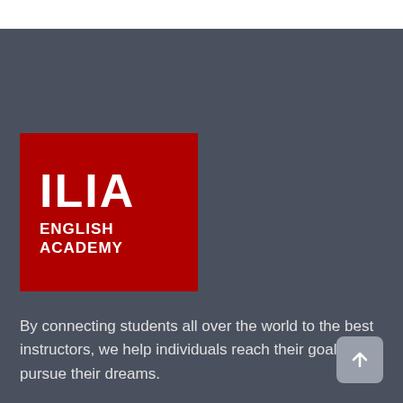[Figure (logo): ILIA English Academy logo — red square background with white bold text 'ILIA' in large letters and 'ENGLISH ACADEMY' below in smaller bold caps]
By connecting students all over the world to the best instructors, we help individuals reach their goals and pursue their dreams.